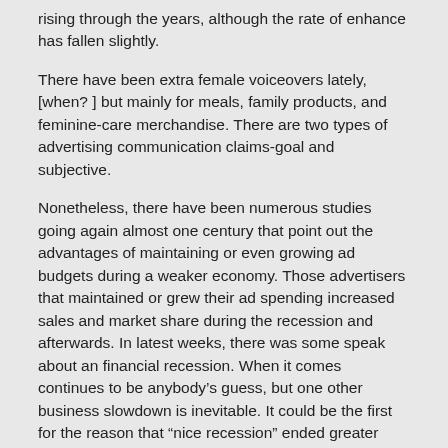rising through the years, although the rate of enhance has fallen slightly.
There have been extra female voiceovers lately,[when? ] but mainly for meals, family products, and feminine-care merchandise. There are two types of advertising communication claims-goal and subjective.
Nonetheless, there have been numerous studies going again almost one century that point out the advantages of maintaining or even growing ad budgets during a weaker economy. Those advertisers that maintained or grew their ad spending increased sales and market share during the recession and afterwards. In latest weeks, there was some speak about an financial recession. When it comes continues to be anybody's guess, but one other business slowdown is inevitable. It could be the first for the reason that “nice recession” ended greater than ten years in the past.
Where Programmatic Meets Media All Media.
And it’s also attainable to focus on a very specific a part of your